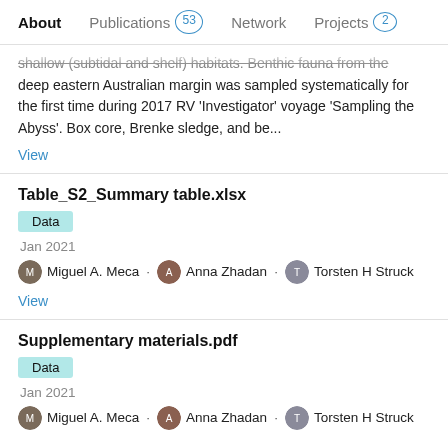About  Publications 53  Network  Projects 2
shallow (subtidal and shelf) habitats. Benthic fauna from the deep eastern Australian margin was sampled systematically for the first time during 2017 RV 'Investigator' voyage 'Sampling the Abyss'. Box core, Brenke sledge, and be...
View
Table_S2_Summary table.xlsx
Data
Jan 2021
Miguel A. Meca · Anna Zhadan · Torsten H Struck
View
Supplementary materials.pdf
Data
Jan 2021
Miguel A. Meca · Anna Zhadan · Torsten H Struck